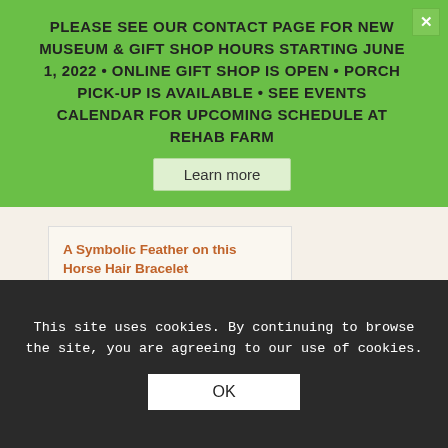PLEASE SEE OUR CONTACT PAGE FOR NEW MUSEUM & GIFT SHOP HOURS STARTING JUNE 1, 2022 • ONLINE GIFT SHOP IS OPEN • PORCH PICK-UP IS AVAILABLE • SEE EVENTS CALENDAR FOR UPCOMING SCHEDULE AT REHAB FARM
Learn more
A Symbolic Feather on this Horse Hair Bracelet
$35.00
1 2 3 › »
Page 1 of 7
This site uses cookies. By continuing to browse the site, you are agreeing to our use of cookies.
OK